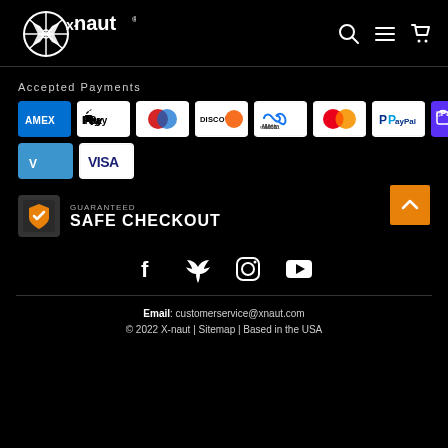X-naut
Accepted Payments
[Figure (illustration): Payment method icons: AMEX, Apple Pay, Diners Club, Discover, Meta Pay, Mastercard, PayPal, Shop Pay, Venmo, Visa]
[Figure (illustration): Guaranteed Safe Checkout badge with shield icon and back-to-top arrow button]
[Figure (illustration): Social media icons: Facebook, Twitter, Instagram, YouTube]
Email: customerservice@xnaut.com
© 2022 X-naut | Sitemap | Based in the USA